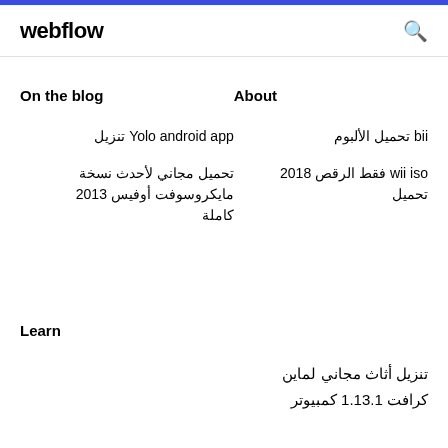webflow
On the blog
About
تنزيل Yolo android app
bii تحميل الألبوم
تحميل مجاني لأحدث نسخة مايكروسوفت أوفيس 2013 كاملة
wii iso فقط الرقص 2018 تحميل
Learn
تنزيل أثاث مجاني لماين كرافت 1.13.1 كمبيوتر